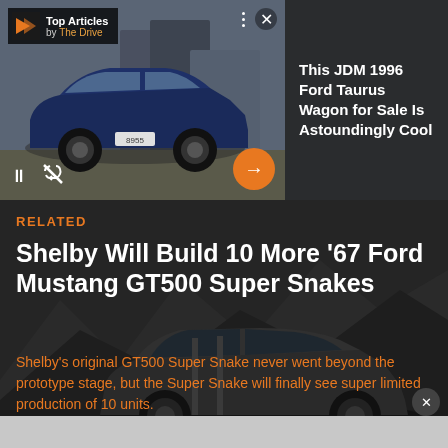[Figure (screenshot): Top Articles widget from The Drive showing a JDM 1996 Ford Taurus Wagon with play/pause and mute controls, an orange arrow button, close X button, and dots menu. Right panel shows article title in white text on dark background.]
This JDM 1996 Ford Taurus Wagon for Sale Is Astoundingly Cool
RELATED
Shelby Will Build 10 More '67 Ford Mustang GT500 Super Snakes
Shelby's original GT500 Super Snake never went beyond the prototype stage, but the Super Snake will finally see super limited production of 10 units.